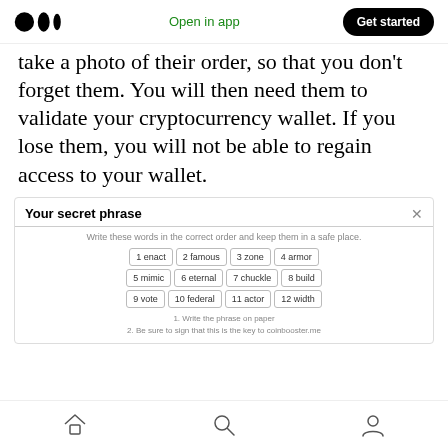Medium header bar with logo, Open in app, Get started
take a photo of their order, so that you don't forget them. You will then need them to validate your cryptocurrency wallet. If you lose them, you will not be able to regain access to your wallet.
[Figure (screenshot): Secret phrase dialog showing 12 seed words in a 4x3 grid: 1 enact, 2 famous, 3 zone, 4 armor, 5 mimic, 6 eternal, 7 chuckle, 8 build, 9 vote, 10 federal, 11 actor, 12 width. Instructions: Write these words in the correct order and keep them in a safe place. 1. Write the phrase on paper. 2. Be sure to sign that this is the key to coinbooster.me]
Home | Search | Profile navigation icons